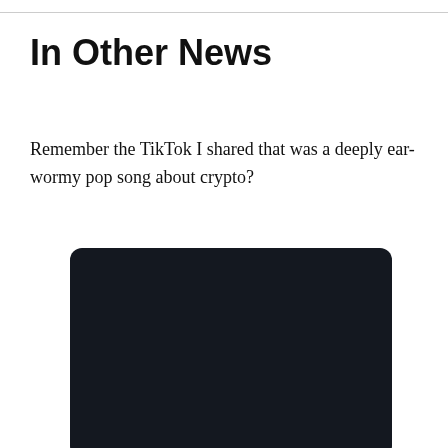In Other News
Remember the TikTok I shared that was a deeply ear-wormy pop song about crypto?
[Figure (screenshot): Dark-themed embedded video or media player with a very dark navy/black background, rounded corners, partially cut off at the bottom of the page.]